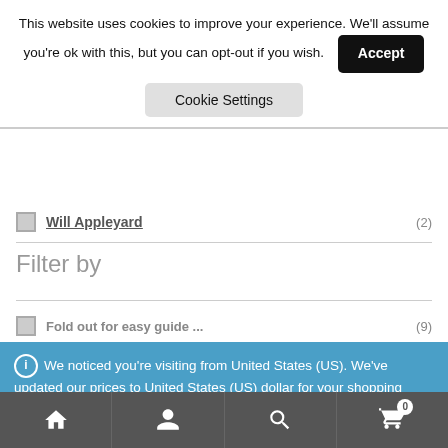This website uses cookies to improve your experience. We'll assume you're ok with this, but you can opt-out if you wish.
Accept
Cookie Settings
Will Appleyard (2)
Filter by
ℹ We noticed you're visiting from United States (US). We've updated our prices to United States (US) dollar for your shopping convenience. Use Pound sterling instead. Dismiss